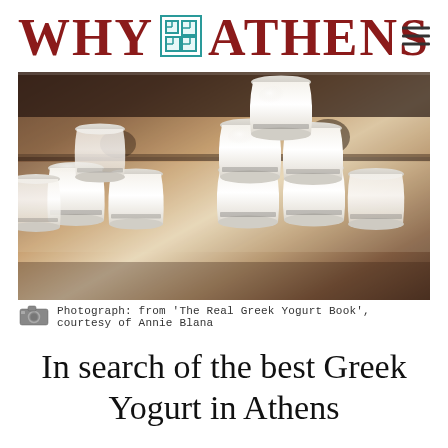WHY ATHENS
[Figure (photo): Stacked white Greek yogurt pots/jars arranged in a pyramid shape on a shelf, photographed through glass with a warm, blurred background showing kitchen items.]
Photograph: from 'The Real Greek Yogurt Book', courtesy of Annie Blana
In search of the best Greek Yogurt in Athens